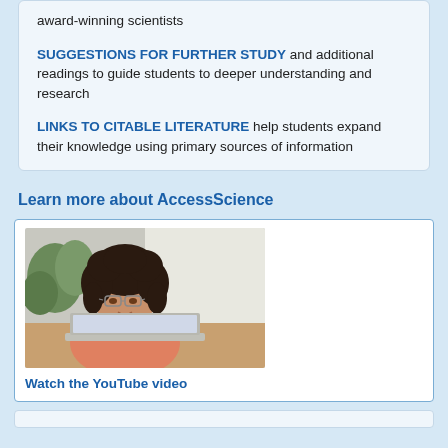award-winning scientists
SUGGESTIONS FOR FURTHER STUDY and additional readings to guide students to deeper understanding and research
LINKS TO CITABLE LITERATURE help students expand their knowledge using primary sources of information
Learn more about AccessScience
[Figure (photo): A young woman with curly hair and glasses looking at a laptop computer, seated indoors with plants in background]
Watch the YouTube video